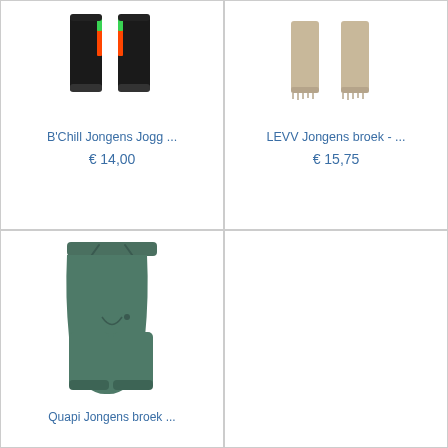[Figure (photo): Two black jogger pants with neon green and orange/red stripes on the sides, displayed side by side]
B'Chill Jongens Jogg ...
€ 14,00
[Figure (photo): Two beige/tan fitted pants displayed side by side]
LEVV Jongens broek - ...
€ 15,75
[Figure (photo): A green jogger/sweatpant with drawstring waist and ribbed cuffs]
Quapi Jongens broek ...